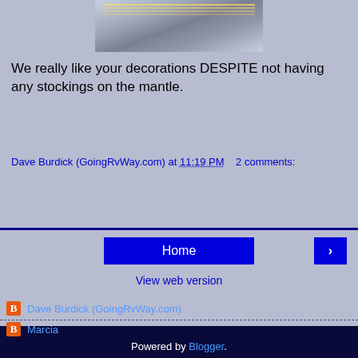[Figure (photo): Photo of a decorated indoor space with string lights on ceiling, Christmas/holiday decorations visible]
We really like your decorations DESPITE not having any stockings on the mantle.
Dave Burdick (GoingRvWay.com) at 11:19 PM   2 comments:
Share
< Home >
View web version
Dave Burdick (GoingRvWay.com)
Marcia
Powered by Blogger.